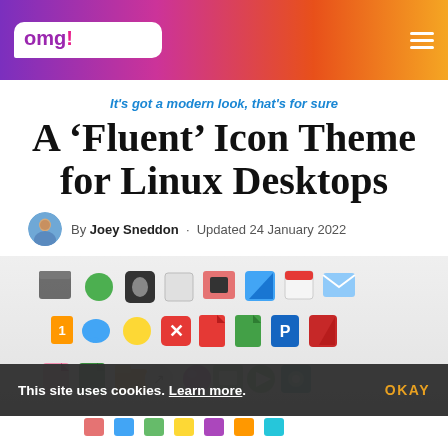omg! ubuntu!
It's got a modern look, that's for sure
A ‘Fluent’ Icon Theme for Linux Desktops
By Joey Sneddon · Updated 24 January 2022
[Figure (screenshot): Grid of colorful Fluent icon theme icons for Linux desktop apps, shown in three rows on a light gray background]
This site uses cookies. Learn more.  OKAY